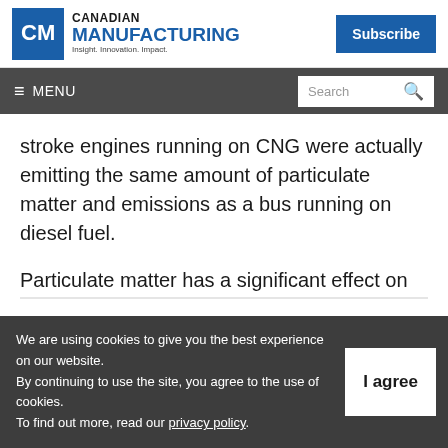Canadian Manufacturing — Insight. Innovation. Impact.
stroke engines running on CNG were actually emitting the same amount of particulate matter and emissions as a bus running on diesel fuel.
Particulate matter has a significant effect on
We are using cookies to give you the best experience on our website.
By continuing to use the site, you agree to the use of cookies.
To find out more, read our privacy policy.